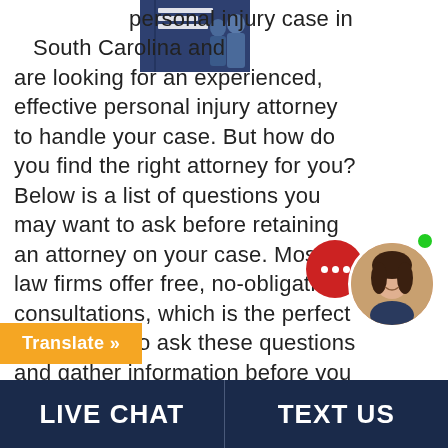[Figure (photo): Book cover thumbnail for personal injury attorney book with two figures in suits]
personal injury case in South Carolina and are looking for an experienced, effective personal injury attorney to handle your case. But how do you find the right attorney for you? Below is a list of questions you may want to ask before retaining an attorney on your case. Most law firms offer free, no-obligation consultations, which is the perfect opportunity to ask these questions and gather information before you make a decision....
[Figure (photo): Live chat widget with red chat bubble showing three white dots and avatar of smiling woman with green online indicator dot]
Translate »
LIVE CHAT   TEXT US